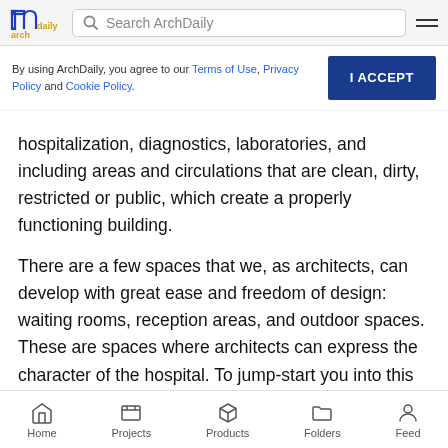Search ArchDaily
By using ArchDaily, you agree to our Terms of Use, Privacy Policy and Cookie Policy.
hospitalization, diagnostics, laboratories, and including areas and circulations that are clean, dirty, restricted or public, which create a properly functioning building.
There are a few spaces that we, as architects, can develop with great ease and freedom of design: waiting rooms, reception areas, and outdoor spaces. These are spaces where architects can express the character of the hospital. To jump-start you into this process, we have selected 43 projects that show us how creativity and quality of a space go hand-in-hand with
Home   Projects   Products   Folders   Feed